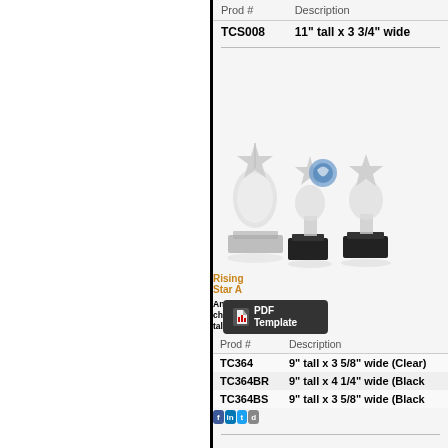| Prod # | Description |
| --- | --- |
| TCS008 | 11" tall x 3 3/4" wide |
[Figure (photo): Crystal star trophies in three sizes on black bases]
Rising Star A
An ideal choi talented you attached. US
Production le
Share this Aw
[Figure (other): PDF Template button]
| Prod # | Description |
| --- | --- |
| TC364 | 9" tall x 3 5/8" wide (Clear) |
| TC364BR | 9" tall x 4 1/4" wide (Black |
| TC364BS | 9" tall x 3 5/8" wide (Black |